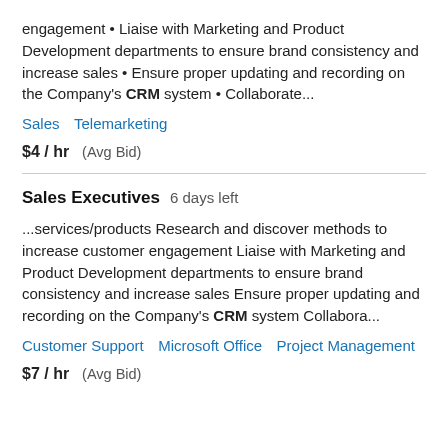engagement • Liaise with Marketing and Product Development departments to ensure brand consistency and increase sales • Ensure proper updating and recording on the Company's CRM system • Collaborate...
Sales   Telemarketing
$4 / hr   (Avg Bid)
Sales Executives   6 days left
...services/products Research and discover methods to increase customer engagement Liaise with Marketing and Product Development departments to ensure brand consistency and increase sales Ensure proper updating and recording on the Company's CRM system Collabora...
Customer Support   Microsoft Office   Project Management
$7 / hr   (Avg Bid)